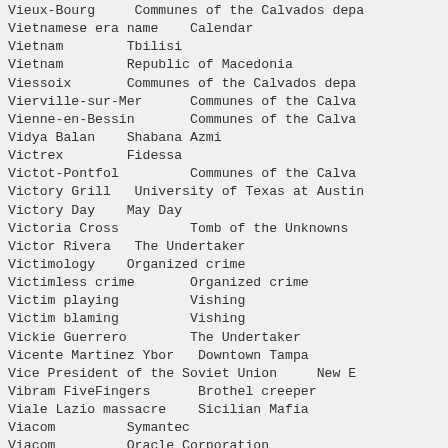| Term | Related |
| --- | --- |
| Vieux-Bourg | Communes of the Calvados depa |
| Vietnamese era name | Calendar |
| Vietnam | Tbilisi |
| Vietnam | Republic of Macedonia |
| Viessoix | Communes of the Calvados depa |
| Vierville-sur-Mer | Communes of the Calva |
| Vienne-en-Bessin | Communes of the Calva |
| Vidya Balan | Shabana Azmi |
| Victrex | Fidessa |
| Victot-Pontfol | Communes of the Calva |
| Victory Grill | University of Texas at Austin |
| Victory Day | May Day |
| Victoria Cross | Tomb of the Unknowns |
| Victor Rivera | The Undertaker |
| Victimology | Organized crime |
| Victimless crime | Organized crime |
| Victim playing | Vishing |
| Victim blaming | Vishing |
| Vickie Guerrero | The Undertaker |
| Vicente Martinez Ybor | Downtown Tampa |
| Vice President of the Soviet Union | New E |
| Vibram FiveFingers | Brothel creeper |
| Viale Lazio massacre | Sicilian Mafia |
| Viacom | Symantec |
| Viacom | Oracle Corporation |
| Viacom | Fiserv |
| VIA Technologies | Verizon Communication |
| VIA Technologies | Symantec |
| VIA Technologies | SAP AG |
| VIA Technologies | Oracle Corporation |
| VIA Technologies | ... |